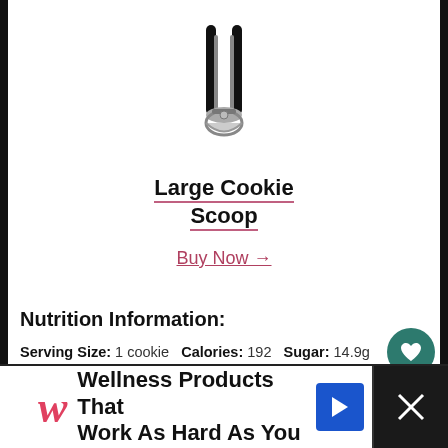[Figure (photo): Cookie scoop kitchen tool - a metal scoop with black handle grips, viewed from above]
Large Cookie Scoop
Buy Now →
Nutrition Information:
Serving Size: 1 cookie  Calories: 192  Sugar: 14.9g
Sodium: 191.5mg  Fat: 10.3g
Carbohydrates: 24.6g  Fiber: 1.5g  Protein: 2.5g
Cholesterol: 43mg
Category: Cookies  Method: Oven
Cuisine: American
[Figure (other): Walgreens advertisement banner: Wellness Products That Work As Hard As You]
Wellness Products That Work As Hard As You